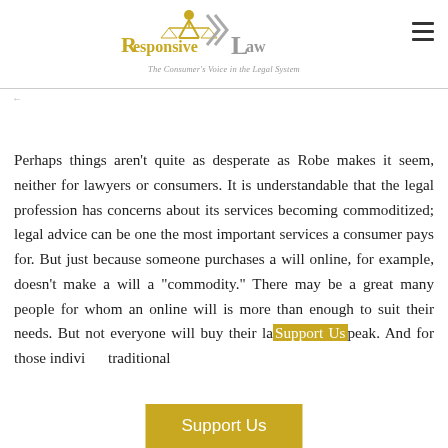[Figure (logo): Responsive Law logo with scales of justice icon, gold R and 'esponsive' text, gray 'Law' text, tagline 'The Consumer's Voice in the Legal System']
Page navigation breadcrumb area
Perhaps things aren't quite as desperate as Robe makes it seem, neither for lawyers or consumers. It is understandable that the legal profession has concerns about its services becoming commoditized; legal advice can be one the most important services a consumer pays for. But just because someone purchases a will online, for example, doesn't make a will a 'commodity.' There may be a great many people for whom an online will is more than enough to suit their needs. But not everyone will buy their la... ...speak. And for those indivi... ...traditional